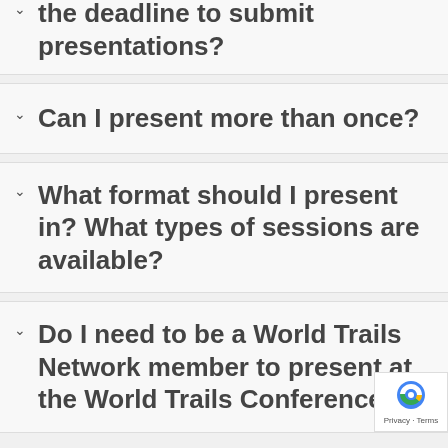How do I present? What is the deadline to submit presentations?
Can I present more than once?
What format should I present in? What types of sessions are available?
Do I need to be a World Trails Network member to present at the World Trails Conference?